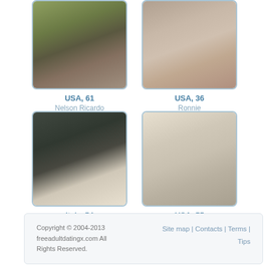[Figure (photo): Profile photo placeholder - nature/outdoor scene (USA, 61 - Nelson Ricardo)]
USA, 61
Nelson Ricardo
[Figure (photo): Profile photo - man's face close-up (USA, 36 - Ronnie)]
USA, 36
Ronnie
[Figure (photo): Profile photo - man in dark shirt smiling (Italy, 54)]
Italy, 54
[Figure (photo): Profile photo - man in white shirt (USA, 55)]
USA, 55
Copyright © 2004-2013 freeadultdatingx.com All Rights Reserved.
Site map | Contacts | Terms | Tips